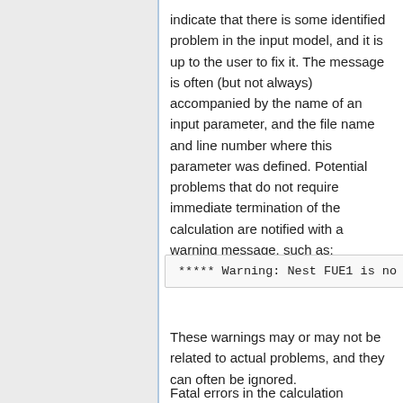indicate that there is some identified problem in the input model, and it is up to the user to fix it. The message is often (but not always) accompanied by the name of an input parameter, and the file name and line number where this parameter was defined. Potential problems that do not require immediate termination of the calculation are notified with a warning message, such as:
***** Warning: Nest FUE1 is no
These warnings may or may not be related to actual problems, and they can often be ignored.
Fatal errors in the calculation routines produce messages of type: